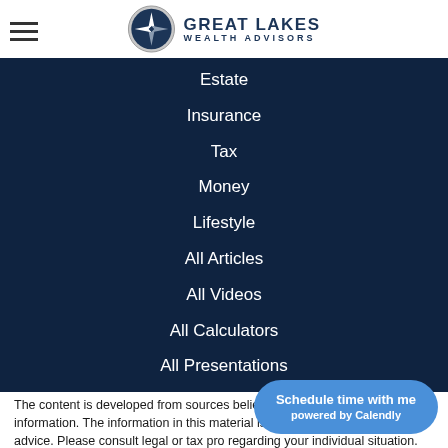[Figure (logo): Great Lakes Wealth Advisors logo with compass rose icon and hamburger menu icon]
Estate
Insurance
Tax
Money
Lifestyle
All Articles
All Videos
All Calculators
All Presentations
Check the background of your financial professional on FINRA's BrokerCheck.
The content is developed from sources believed to be providing accurate information. The information in this material is not intended as tax or legal advice. Please consult legal or tax professionals regarding your individual situation. Some of this material was developed and produced by FMG Suite to provide information on a topic that may be of